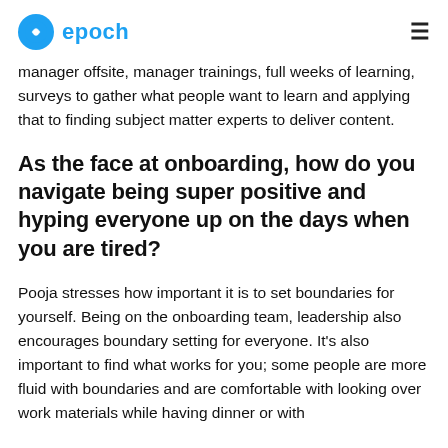epoch
manager offsite, manager trainings, full weeks of learning, surveys to gather what people want to learn and applying that to finding subject matter experts to deliver content.
As the face at onboarding, how do you navigate being super positive and hyping everyone up on the days when you are tired?
Pooja stresses how important it is to set boundaries for yourself. Being on the onboarding team, leadership also encourages boundary setting for everyone. It's also important to find what works for you; some people are more fluid with boundaries and are comfortable with looking over work materials while having dinner or with